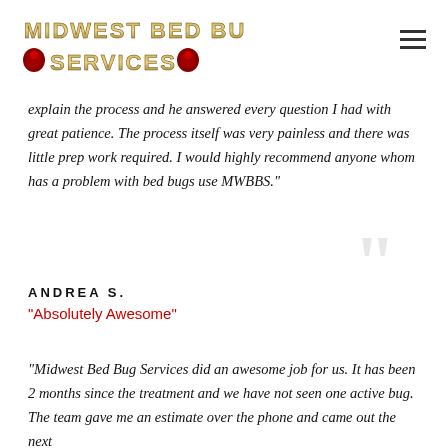[Figure (logo): Midwest Bed Bug Services logo with stylized text in olive/gold color and red bug icons]
explain the process and he answered every question I had with great patience. The process itself was very painless and there was little prep work required. I would highly recommend anyone whom has a problem with bed bugs use MWBBS."
ANDREA S.
"Absolutely Awesome"
“Midwest Bed Bug Services did an awesome job for us. It has been 2 months since the treatment and we have not seen one active bug. The team gave me an estimate over the phone and came out the next